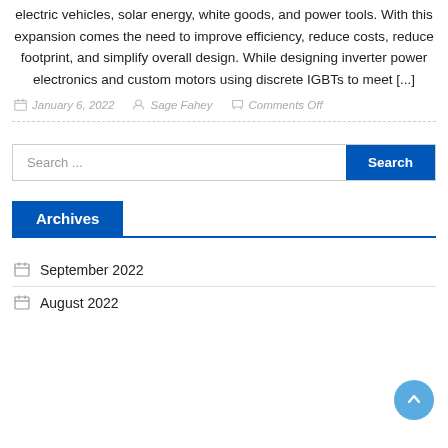electric vehicles, solar energy, white goods, and power tools. With this expansion comes the need to improve efficiency, reduce costs, reduce footprint, and simplify overall design. While designing inverter power electronics and custom motors using discrete IGBTs to meet [...]
January 6, 2022  Sage Fahey  Comments Off
Search ...
Archives
September 2022
August 2022